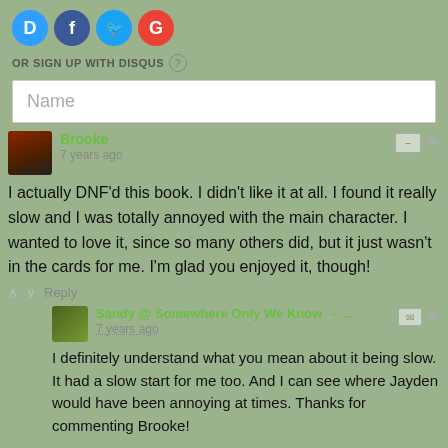[Figure (screenshot): Social login icons: Disqus (D), Facebook (f), Twitter bird, Google (G)]
OR SIGN UP WITH DISQUS ?
Name
Brooke
7 years ago
I actually DNF'd this book. I didn't like it at all. I found it really slow and I was totally annoyed with the main character. I wanted to love it, since so many others did, but it just wasn't in the cards for me. I'm glad you enjoyed it, though!
Reply
Sandy @ Somewhere Only We Know → ...
7 years ago
I definitely understand what you mean about it being slow. It had a slow start for me too. And I can see where Jayden would have been annoying at times. Thanks for commenting Brooke!